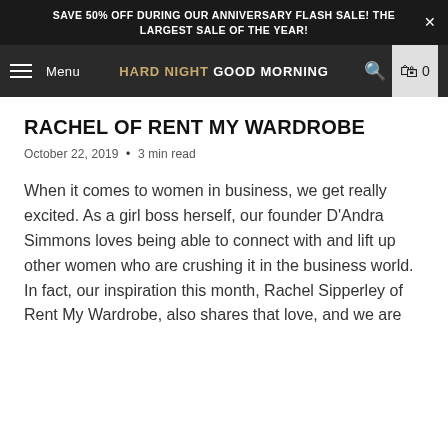SAVE 50% OFF DURING OUR ANNIVERSARY FLASH SALE! THE LARGEST SALE OF THE YEAR!
Menu  HARD NIGHT GOOD MORNING  0
RACHEL OF RENT MY WARDROBE
October 22, 2019  •  3 min read
When it comes to women in business, we get really excited. As a girl boss herself, our founder D'Andra Simmons loves being able to connect with and lift up other women who are crushing it in the business world. In fact, our inspiration this month, Rachel Sipperley of Rent My Wardrobe, also shares that love, and we are